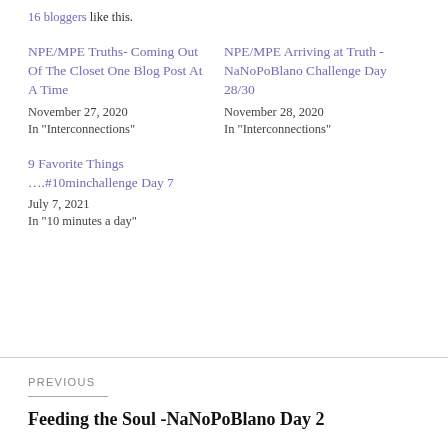16 bloggers like this.
NPE/MPE Truths- Coming Out Of The Closet One Blog Post At A Time
November 27, 2020
In "Interconnections"
NPE/MPE Arriving at Truth - NaNoPoBlano Challenge Day 28/30
November 28, 2020
In "Interconnections"
9 Favorite Things ….#10minchallenge Day 7
July 7, 2021
In "10 minutes a day"
PREVIOUS
Feeding the Soul -NaNoPoBlano Day 2